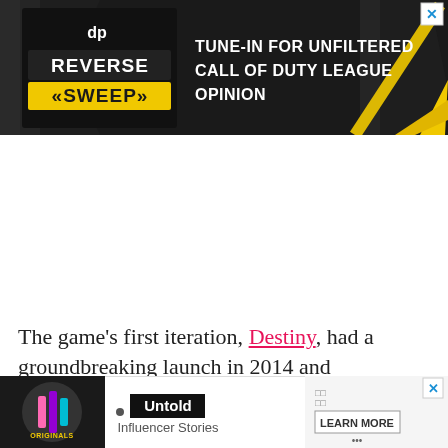[Figure (advertisement): Dark-themed ad banner for 'Reverse Sweep' show. Features a logo with 'Reverse Sweep' text in yellow/white on dark chevron background. Right side reads 'TUNE-IN FOR UNFILTERED CALL OF DUTY LEAGUE OPINION' in bold white text with a yellow diagonal slash.]
The game’s first iteration, Destiny, had a groundbreaking launch in 2014 and immediately had the hearts of many hooked on to the looter shooter.
Since t… uel in
[Figure (advertisement): Bottom ad banner. Left side shows a circular logo with 'Originals' text and colorful graphic. Middle shows 'Untold' in white on black, 'Influencer Stories' text. Right side shows 'LEARN MORE' button with dots pattern.]